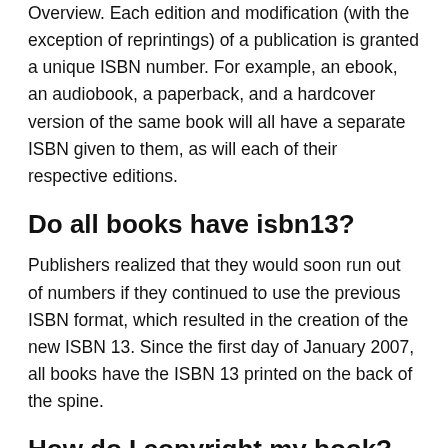Overview. Each edition and modification (with the exception of reprintings) of a publication is granted a unique ISBN number. For example, an ebook, an audiobook, a paperback, and a hardcover version of the same book will all have a separate ISBN given to them, as will each of their respective editions.
Do all books have isbn13?
Publishers realized that they would soon run out of numbers if they continued to use the previous ISBN format, which resulted in the creation of the new ISBN 13. Since the first day of January 2007, all books have the ISBN 13 printed on the back of the spine.
How do I copyright my book?